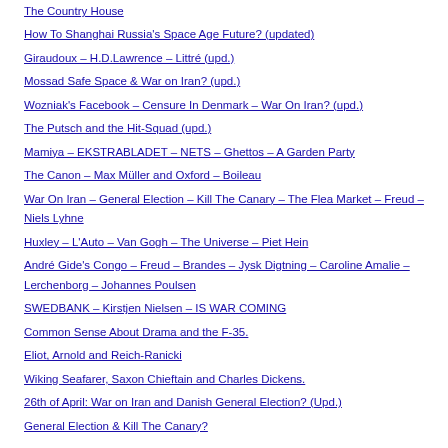The Country House
How To Shanghai Russia's Space Age Future? (updated)
Giraudoux – H.D.Lawrence – Littré (upd.)
Mossad Safe Space & War on Iran? (upd.)
Wozniak's Facebook – Censure In Denmark – War On Iran? (upd.)
The Putsch and the Hit-Squad (upd.)
Mamiya – EKSTRABLADET – NETS – Ghettos – A Garden Party
The Canon – Max Müller and Oxford – Boileau
War On Iran – General Election – Kill The Canary – The Flea Market – Freud – Niels Lyhne
Huxley – L'Auto – Van Gogh – The Universe – Piet Hein
André Gide's Congo – Freud – Brandes – Jysk Digtning – Caroline Amalie – Lerchenborg – Johannes Poulsen
SWEDBANK – Kirstjen Nielsen – IS WAR COMING
Common Sense About Drama and the F-35.
Eliot, Arnold and Reich-Ranicki
Wiking Seafarer, Saxon Chieftain and Charles Dickens.
26th of April: War on Iran and Danish General Election? (Upd.)
General Election & Kill The Canary?